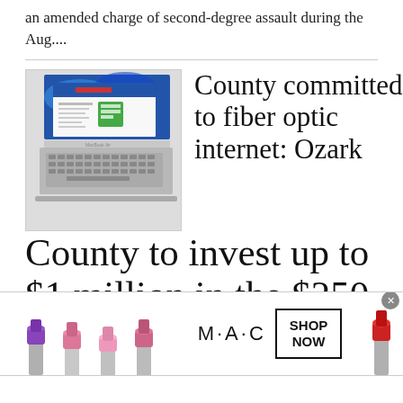an amended charge of second-degree assault during the Aug....
[Figure (photo): Laptop computer (MacBook Air) showing a website with a green form or widget on screen, against a blue abstract background]
County committed to fiber optic internet: Ozark County to invest up to $1 million in the $250 million project
[Figure (photo): MAC cosmetics advertisement showing multiple lipsticks (purple, pink, red) with MAC logo and SHOP NOW button]